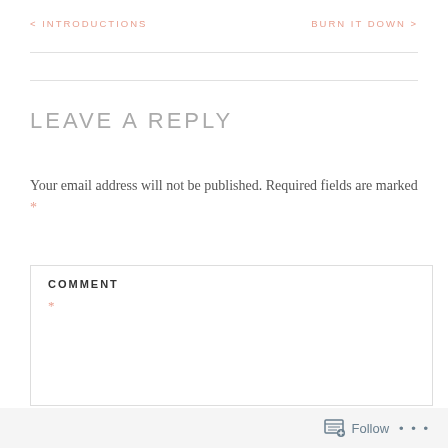< INTRODUCTIONS    BURN IT DOWN >
LEAVE A REPLY
Your email address will not be published. Required fields are marked *
COMMENT *
Follow ...